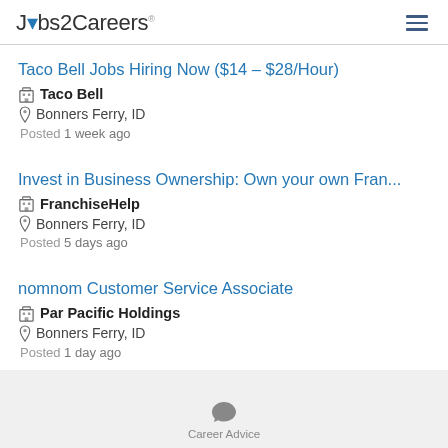Jobs2Careers
Taco Bell Jobs Hiring Now ($14 - $28/Hour)
Taco Bell
Bonners Ferry, ID
Posted 1 week ago
Invest in Business Ownership: Own your own Fran...
FranchiseHelp
Bonners Ferry, ID
Posted 5 days ago
nomnom Customer Service Associate
Par Pacific Holdings
Bonners Ferry, ID
Posted 1 day ago
Career Advice